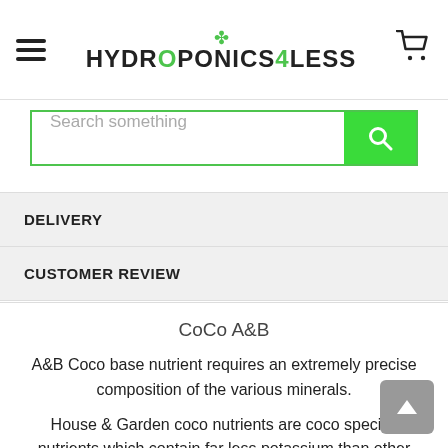[Figure (logo): Hydroponics4Less logo with green plant leaf icon above text reading HYDROPONICS4LESS]
[Figure (screenshot): Search bar with placeholder text 'Search something' and green search button]
DELIVERY
CUSTOMER REVIEW
CoCo A&B
A&B Coco base nutrient requires an extremely precise composition of the various minerals.
House & Garden coco nutrients are coco specific nutrients which contain far less potassium than other nutrients to take into account the high levels of potassium released from the coco media during the growing cycle.